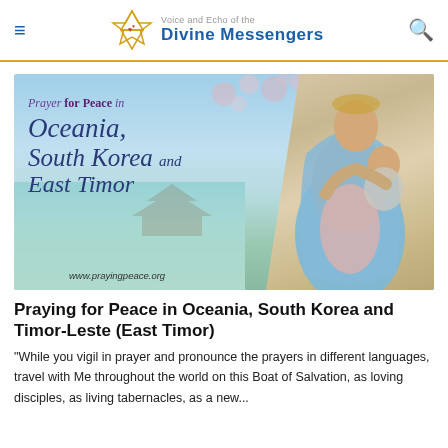Voice and Echo of the Divine Messengers
[Figure (illustration): Prayer for Peace promotional image featuring text 'Prayer for Peace in Oceania, South Korea and East Timor' in decorative script over a background with ocean, cherry blossoms and Korean temple imagery, with a statue of Mary holding the Christ child on the right side. URL: www.prayingpeace.org shown at bottom.]
Praying for Peace in Oceania, South Korea and Timor-Leste (East Timor)
"While you vigil in prayer and pronounce the prayers in different languages, travel with Me throughout the world on this Boat of Salvation, as loving disciples, as living tabernacles, as a new...